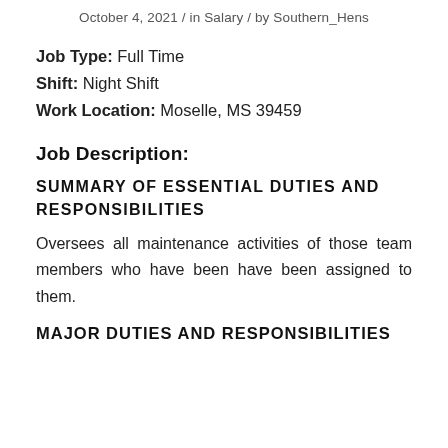October 4, 2021 / in Salary / by Southern_Hens
Job Type: Full Time
Shift: Night Shift
Work Location: Moselle, MS 39459
Job Description:
SUMMARY OF ESSENTIAL DUTIES AND RESPONSIBILITIES
Oversees all maintenance activities of those team members who have been have been assigned to them.
MAJOR DUTIES AND RESPONSIBILITIES